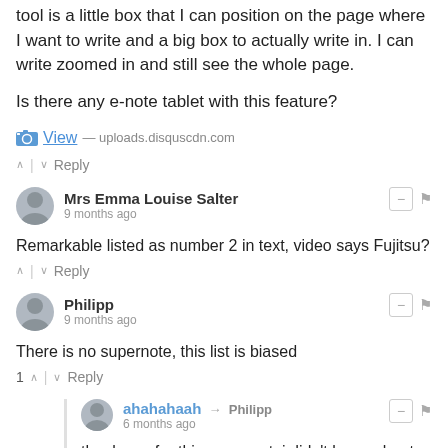tool is a little box that I can position on the page where I want to write and a big box to actually write in. I can write zoomed in and still see the whole page.
Is there any e-note tablet with this feature?
View — uploads.disquscdn.com
↑ | ↓ Reply
Mrs Emma Louise Salter
9 months ago
Remarkable listed as number 2 in text, video says Fujitsu?
↑ | ↓ Reply
Philipp
9 months ago
There is no supernote, this list is biased
1 ↑ | ↓ Reply
ahahahaah → Philipp
6 months ago
thank you for this comment. i didn't know about "supernote", i just checked it, and it is a very interesting